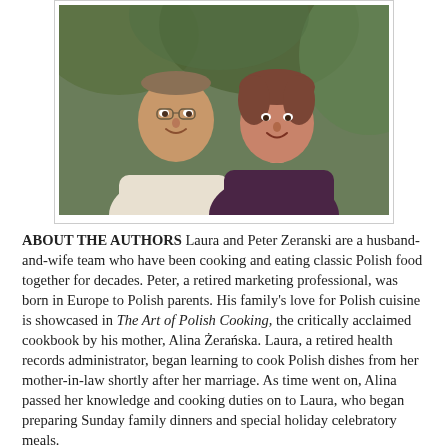[Figure (photo): Portrait photo of Laura and Peter Zeranski, a couple smiling, the man on the left in a light-colored top, the woman on the right in a dark top, with green foliage in the background.]
ABOUT THE AUTHORS Laura and Peter Zeranski are a husband-and-wife team who have been cooking and eating classic Polish food together for decades. Peter, a retired marketing professional, was born in Europe to Polish parents. His family's love for Polish cuisine is showcased in The Art of Polish Cooking, the critically acclaimed cookbook by his mother, Alina Żerańska. Laura, a retired health records administrator, began learning to cook Polish dishes from her mother-in-law shortly after her marriage. As time went on, Alina passed her knowledge and cooking duties on to Laura, who began preparing Sunday family dinners and special holiday celebratory meals.
ABOUT THE PHOTOGRAPHER Bob Rock is a self-taught photographer who enjoys portrait, landscape, and macro photography. After a thirty-five year career in the printing industry, Rock is now the owner of Bob Rock Photography &